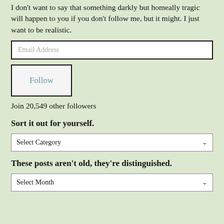I don't want to say that something darkly but homeally tragic will happen to you if you don't follow me, but it might. I just want to be realistic.
Email Address
Follow
Join 20,549 other followers
Sort it out for yourself.
Select Category
These posts aren't old, they're distinguished.
Select Month